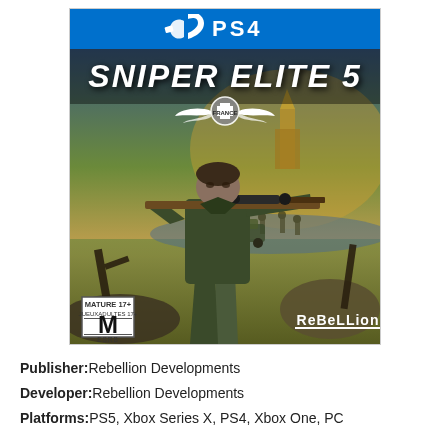[Figure (photo): PS4 game box cover for Sniper Elite 5 - France edition. Shows a soldier aiming a sniper rifle with a war scene in the background featuring military vehicles and troops. ESRB M rating badge in lower left, Rebellion logo in lower right.]
Publisher:Rebellion Developments
Developer:Rebellion Developments
Platforms:PS5, Xbox Series X, PS4, Xbox One, PC